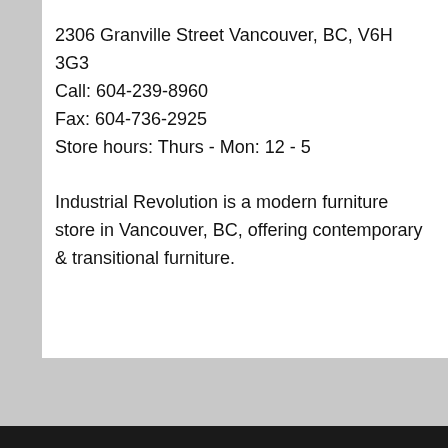2306 Granville Street Vancouver, BC, V6H 3G3
Call: 604-239-8960
Fax: 604-736-2925
Store hours: Thurs - Mon: 12 - 5
Industrial Revolution is a modern furniture store in Vancouver, BC, offering contemporary & transitional furniture.